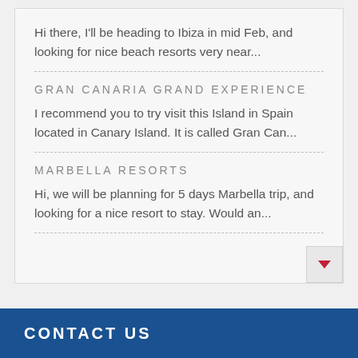Hi there, I'll be heading to Ibiza in mid Feb, and looking for nice beach resorts very near...
GRAN CANARIA GRAND EXPERIENCE
I recommend you to try visit this Island in Spain located in Canary Island. It is called Gran Can...
MARBELLA RESORTS
Hi, we will be planning for 5 days Marbella trip, and looking for a nice resort to stay. Would an...
CONTACT US